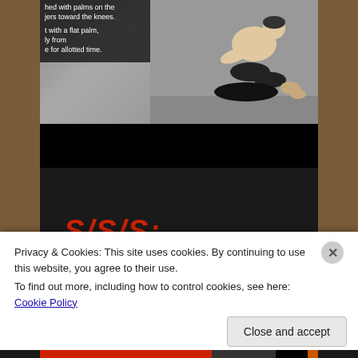[Figure (screenshot): Video screenshot showing two wrestlers/grapplers on a mat, one person controlling another from behind. Text overlay on left side reads: 'hed with palms on the jers toward the knees.' and 't with a flat palm, ly from e for allotted time.']
SISIS:
2-Second Paused Clean (at
Privacy & Cookies: This site uses cookies. By continuing to use this website, you agree to their use.
To find out more, including how to control cookies, see here: Cookie Policy
Close and accept